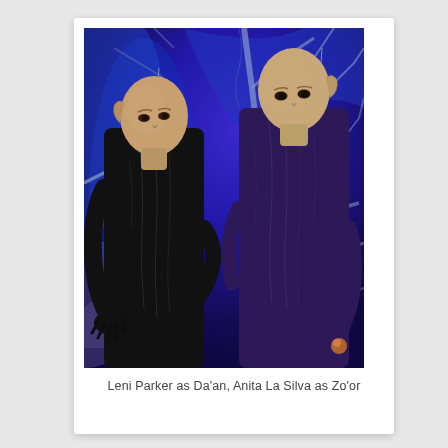[Figure (photo): Two bald-headed figures in alien costumes standing against a deep blue sci-fi background with branching tree-like structures and hanging decorative elements. The figure on the left wears a black lace/textured suit, the figure on the right wears a dark purple textured suit. Both have elongated ear features characteristic of alien characters.]
Leni Parker as Da'an, Anita La Silva as Zo'or